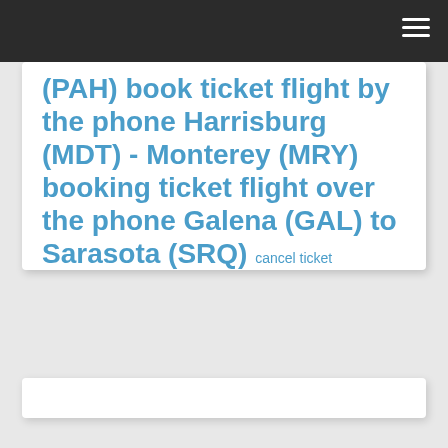(PAH) book ticket flight by the phone Harrisburg (MDT) - Monterey (MRY) booking ticket flight over the phone Galena (GAL) to Sarasota (SRQ) cancel ticket airline on the call North Las Vegas (VGT) to Birmingham (BHM) book ticket flight by the phone Colorado Springs (COS) to Billings (BIL)